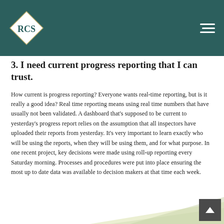RCS logo and navigation header
3. I need current progress reporting that I can trust.
How current is progress reporting? Everyone wants real-time reporting, but is it really a good idea? Real time reporting means using real time numbers that have usually not been validated. A dashboard that's supposed to be current to yesterday's progress report relies on the assumption that all inspectors have uploaded their reports from yesterday. It's very important to learn exactly who will be using the reports, when they will be using them, and for what purpose. In one recent project, key decisions were made using roll-up reporting every Saturday morning. Processes and procedures were put into place ensuring the most up to date data was available to decision makers at that time each week.
[Figure (illustration): Decorative diagonal sweep design at the bottom of the page in light green/grey tones, with a dark scroll-to-top button in bottom right corner]